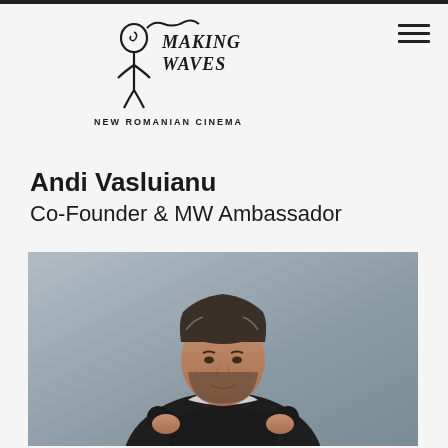[Figure (logo): Making Waves New Romanian Cinema logo — hand-drawn sketch of a person with wavy lines and handwritten text 'MAKING WAVES' above 'NEW ROMANIAN CINEMA']
Andi Vasluianu
Co-Founder & MW Ambassador
[Figure (photo): Portrait photo of Andi Vasluianu, a middle-aged man with salt-and-pepper hair and beard, wearing a black leather jacket over a hoodie with arms crossed, standing in front of a grey wall, smiling.]